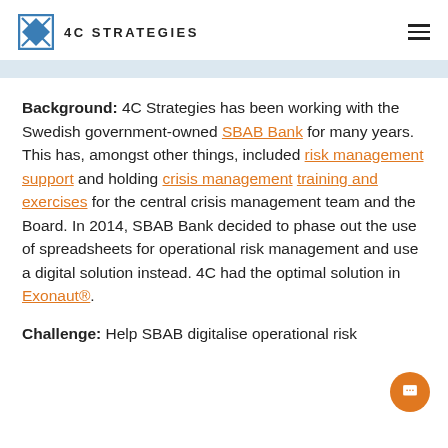4C STRATEGIES
Background: 4C Strategies has been working with the Swedish government-owned SBAB Bank for many years. This has, amongst other things, included risk management support and holding crisis management training and exercises for the central crisis management team and the Board. In 2014, SBAB Bank decided to phase out the use of spreadsheets for operational risk management and use a digital solution instead. 4C had the optimal solution in Exonaut®.
Challenge: Help SBAB digitalise operational risk management by introducing a solution...